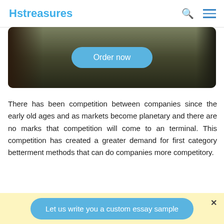Hstreasures
[Figure (photo): Dark background image of a desk/table surface with an 'Order now' button overlay]
There has been competition between companies since the early old ages and as markets become planetary and there are no marks that competition will come to an terminal. This competition has created a greater demand for first category betterment methods that can do companies more competitory.
The betterment methods differ from one another ; as
Let us write you a custom essay sample